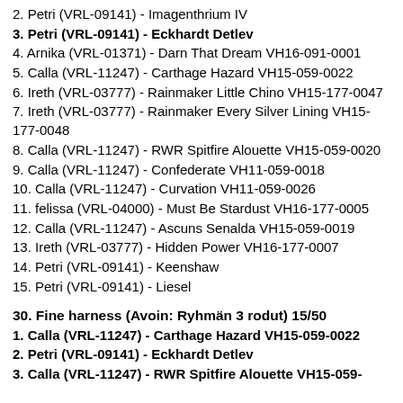2. Petri (VRL-09141) - Imagenthrium IV
3. Petri (VRL-09141) - Eckhardt Detlev
4. Arnika (VRL-01371) - Darn That Dream VH16-091-0001
5. Calla (VRL-11247) - Carthage Hazard VH15-059-0022
6. Ireth (VRL-03777) - Rainmaker Little Chino VH15-177-0047
7. Ireth (VRL-03777) - Rainmaker Every Silver Lining VH15-177-0048
8. Calla (VRL-11247) - RWR Spitfire Alouette VH15-059-0020
9. Calla (VRL-11247) - Confederate VH11-059-0018
10. Calla (VRL-11247) - Curvation VH11-059-0026
11. felissa (VRL-04000) - Must Be Stardust VH16-177-0005
12. Calla (VRL-11247) - Ascuns Senalda VH15-059-0019
13. Ireth (VRL-03777) - Hidden Power VH16-177-0007
14. Petri (VRL-09141) - Keenshaw
15. Petri (VRL-09141) - Liesel
30. Fine harness (Avoin: Ryhmän 3 rodut) 15/50
1. Calla (VRL-11247) - Carthage Hazard VH15-059-0022
2. Petri (VRL-09141) - Eckhardt Detlev
3. Calla (VRL-11247) - RWR Spitfire Alouette VH15-059-0020